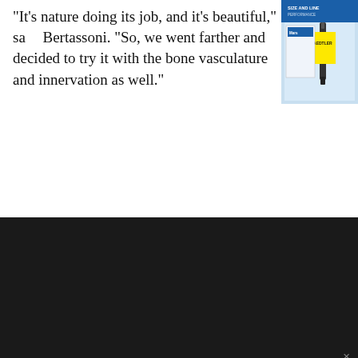“It’s nature doing its job, and it’s beautiful,” sa[id] Bertassoni. “So, we went farther and decided to try it with the bone vasculature and innervation as well.”
[Figure (photo): Product advertisement image in top-right corner showing a pen/marker product package with blue and white design]
[Figure (illustration): Purple and magenta advertisement banner with text 'Science. Applied to Life.' and a red diagonal stripe, with a Glidewell logo at the bottom]
We use cookies on our website to give you the most relevant experience by remembering your preferences and repeat visits. By clicking “Accept”, you consent to the use of ALL the cookies.
Do not sell my personal information.
Cookie Settings
Accept